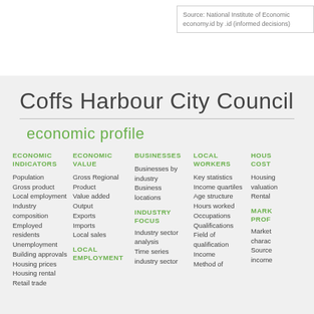Source: National Institute of Economic economy.id by .id (informed decisions)
Coffs Harbour City Council
economic profile
ECONOMIC INDICATORS
Population
Gross product
Local employment
Industry composition
Employed residents
Unemployment
Building approvals
Housing prices
Housing rental
Retail trade
ECONOMIC VALUE
Gross Regional Product
Value added
Output
Exports
Imports
Local sales
LOCAL EMPLOYMENT
BUSINESSES
Businesses by industry
Business locations
INDUSTRY FOCUS
Industry sector analysis
Time series industry sector analysis
LOCAL WORKERS
Key statistics
Income quartiles
Age structure
Hours worked
Occupations
Qualifications
Field of qualification
Income
Method of
HOUSING COSTS
Housing valuation
Rental
MARKET PROFILE
Market characteristics
Source of income